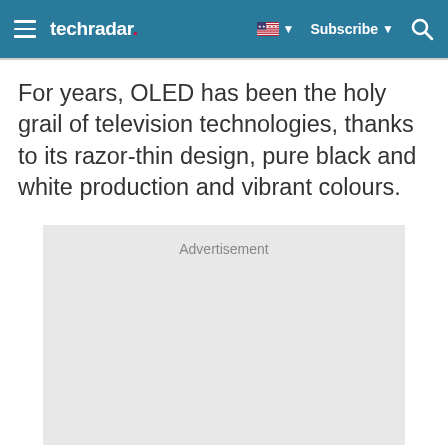techradar | Subscribe
For years, OLED has been the holy grail of television technologies, thanks to its razor-thin design, pure black and white production and vibrant colours.
[Figure (other): Advertisement placeholder box with light grey background and 'Advertisement' label at top center]